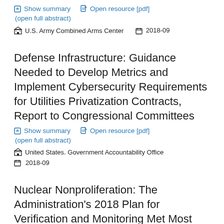▣ Show summary  ⧉ Open resource [pdf]
(open full abstract)
🏛 U.S. Army Combined Arms Center   📅 2018-09
Defense Infrastructure: Guidance Needed to Develop Metrics and Implement Cybersecurity Requirements for Utilities Privatization Contracts, Report to Congressional Committees
▣ Show summary  ⧉ Open resource [pdf]
(open full abstract)
🏛 United States. Government Accountability Office
📅 2018-09
Nuclear Nonproliferation: The Administration's 2018 Plan for Verification and Monitoring Met Most Reporting Requirements but Did Not Include Future Cost and Funding Needs, Report to...